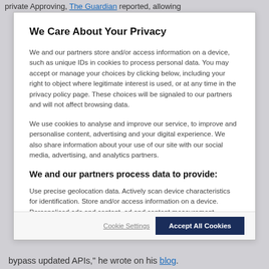private Approving, The Guardian reported, allowing
We Care About Your Privacy
We and our partners store and/or access information on a device, such as unique IDs in cookies to process personal data. You may accept or manage your choices by clicking below, including your right to object where legitimate interest is used, or at any time in the privacy policy page. These choices will be signaled to our partners and will not affect browsing data.
We use cookies to analyse and improve our service, to improve and personalise content, advertising and your digital experience. We also share information about your use of our site with our social media, advertising, and analytics partners.
We and our partners process data to provide:
Use precise geolocation data. Actively scan device characteristics for identification. Store and/or access information on a device. Personalised ads and content, ad and content measurement, audience insights and product development.
List of Partners (vendors)
bypass updated APIs," he wrote on his blog.